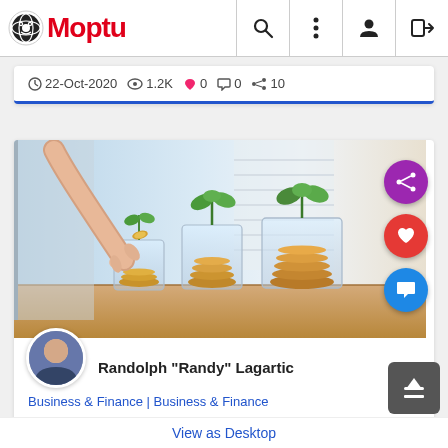Moptu
22-Oct-2020  1.2K  0  0  10
[Figure (photo): Hand dropping a coin into a glass jar with a growing plant sprout; several glass jars with coins and plant sprouts on a wooden surface, symbolizing financial growth and crowdfunding savings.]
Randolph "Randy" Lagartic
Business & Finance | Business & Finance
The 6 Top Crowdfunding Platforms of 2020
Get the funds you need for a
View as Desktop